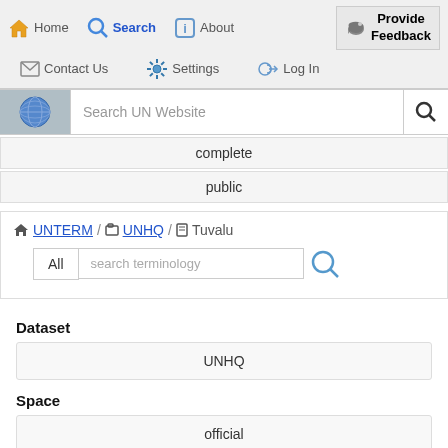[Figure (screenshot): Website navigation bar with Home, Search (active), About, Provide Feedback, Contact Us, Settings, Log In links with icons]
[Figure (screenshot): UN Website search bar with globe icon and search input field]
complete
public
UNTERM / UNHQ / Tuvalu breadcrumb navigation with search terminology input
Dataset
UNHQ
Space
official